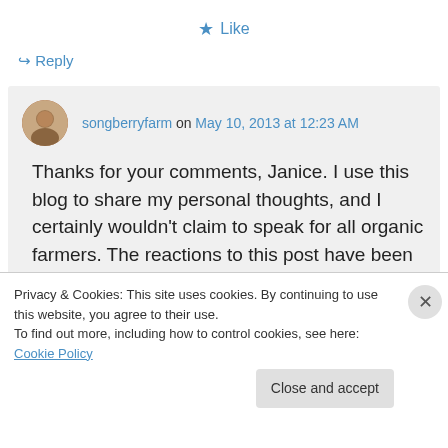★ Like
↪ Reply
songberryfarm on May 10, 2013 at 12:23 AM
Thanks for your comments, Janice. I use this blog to share my personal thoughts, and I certainly wouldn't claim to speak for all organic farmers. The reactions to this post have been very interesting: I've been
Privacy & Cookies: This site uses cookies. By continuing to use this website, you agree to their use.
To find out more, including how to control cookies, see here: Cookie Policy
Close and accept